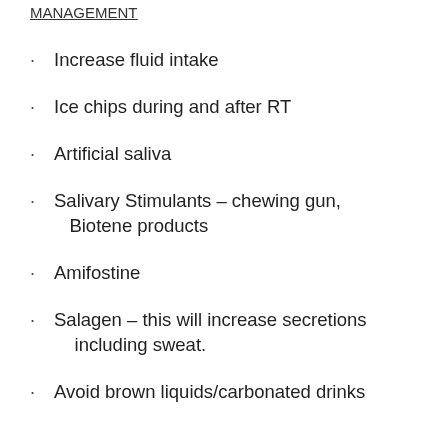MANAGEMENT
Increase fluid intake
Ice chips during and after RT
Artificial saliva
Salivary Stimulants – chewing gun, Biotene products
Amifostine
Salagen – this will increase secretions including sweat.
Avoid brown liquids/carbonated drinks